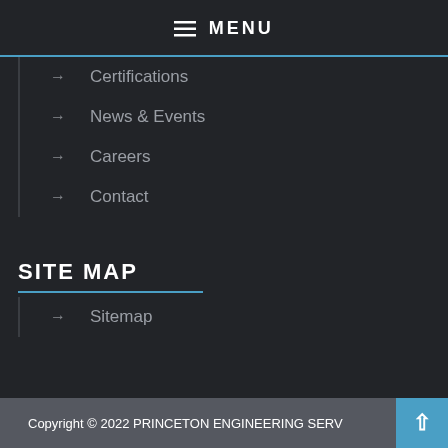≡ MENU
→ Certifications
→ News & Events
→ Careers
→ Contact
SITE MAP
→ Sitemap
Copyright © 2022 PRINCETON ENGINEERING SERV